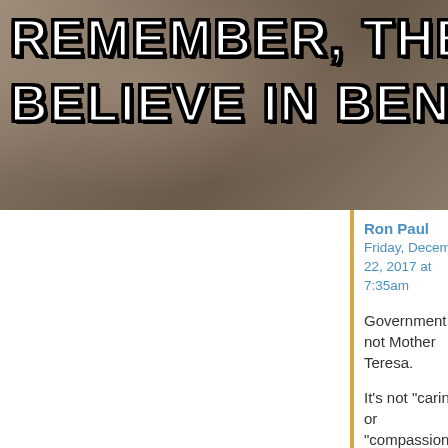[Figure (photo): Meme image with text overlay on a dark background reading 'REMEMBER, THERE ARE A... BELIEVE IN BENEVOLENT GO...']
Ron Paul
Friday, December 22, 2017 at 7:35am
Government is not Mother Teresa.

It's not “caring,” or “compassionate,” or “humanitarian.”

It doesn't “help” the poor . . . . It multiplies them.

It doesn't “run the economy” . . . . It destroys it.

It doesn't “spread...